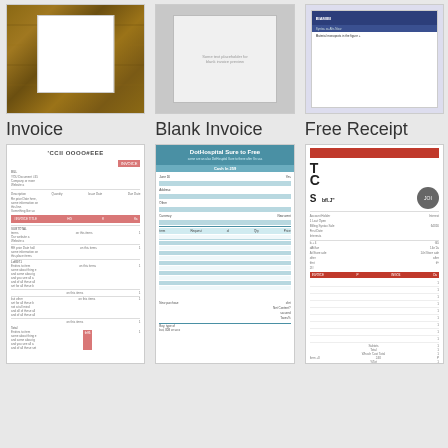[Figure (screenshot): Thumbnail of an Invoice document with wood background]
[Figure (screenshot): Thumbnail of a Blank Invoice document on gray background]
[Figure (screenshot): Thumbnail of a Free Receipt document with blue header]
Invoice
Blank Invoice
Free Receipt
[Figure (screenshot): Preview of Invoice document with pink elements]
[Figure (screenshot): Preview of blank invoice with teal/blue header and form rows]
[Figure (screenshot): Preview of Free Receipt with red bars and table]